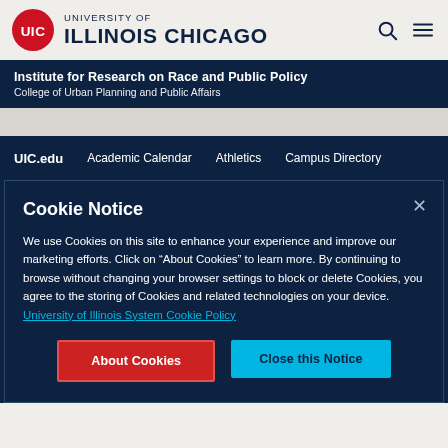[Figure (logo): UIC University of Illinois Chicago logo with red circle containing UIC text and wordmark]
Institute for Research on Race and Public Policy
College of Urban Planning and Public Affairs
UIC.edu   Academic Calendar   Athletics   Campus Directory
Cookie Notice
We use Cookies on this site to enhance your experience and improve our marketing efforts. Click on “About Cookies” to learn more. By continuing to browse without changing your browser settings to block or delete Cookies, you agree to the storing of Cookies and related technologies on your device.  University of Illinois System Cookie Policy
About Cookies
Close this Notice